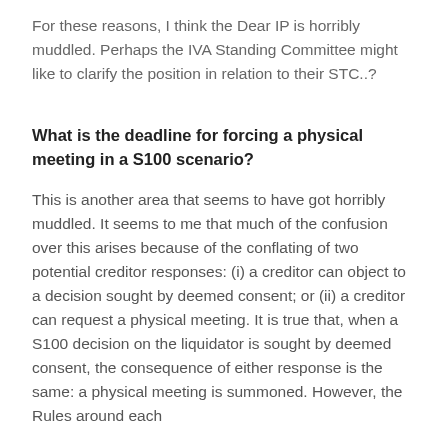For these reasons, I think the Dear IP is horribly muddled. Perhaps the IVA Standing Committee might like to clarify the position in relation to their STC..?
What is the deadline for forcing a physical meeting in a S100 scenario?
This is another area that seems to have got horribly muddled. It seems to me that much of the confusion over this arises because of the conflating of two potential creditor responses: (i) a creditor can object to a decision sought by deemed consent; or (ii) a creditor can request a physical meeting. It is true that, when a S100 decision on the liquidator is sought by deemed consent, the consequence of either response is the same: a physical meeting is summoned. However, the Rules around each